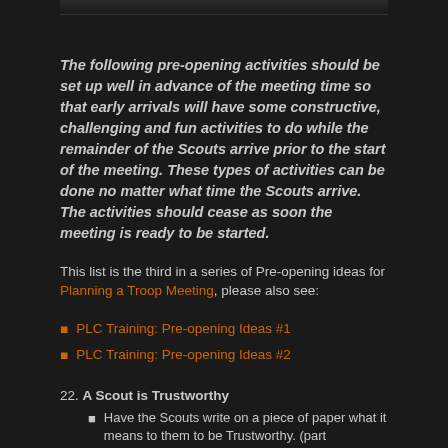[Figure (photo): Partial image strip at top of page]
The following pre-opening activities should be set up well in advance of the meeting time so that early arrivals will have some constructive, challenging and fun activities to do while the remainder of the Scouts arrive prior to the start of the meeting. These types of activities can be done no matter what time the Scouts arrive. The activities should cease as soon the meeting is ready to be started.
This list is the third in a series of Pre-opening ideas for Planning a Troop Meeting, please also see:
PLC Training: Pre-opening Ideas #1
PLC Training: Pre-opening Ideas #2
22. A Scout is Trustworthy
Have the Scouts write on a piece of paper what it means to them to be Trustworthy. (part